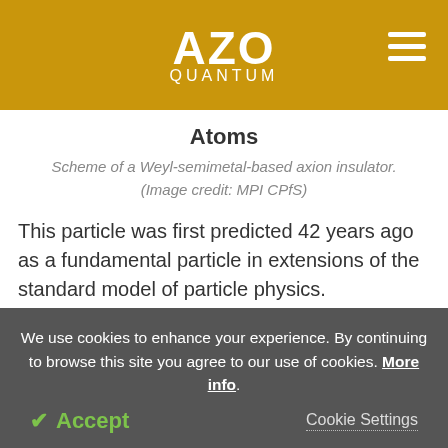AZO QUANTUM
Atoms
Scheme of a Weyl-semimetal-based axion insulator. (Image credit: MPI CPfS)
This particle was first predicted 42 years ago as a fundamental particle in extensions of the standard model of particle physics.
The researchers discovered signatures of axion
We use cookies to enhance your experience. By continuing to browse this site you agree to our use of cookies. More info.
Accept   Cookie Settings